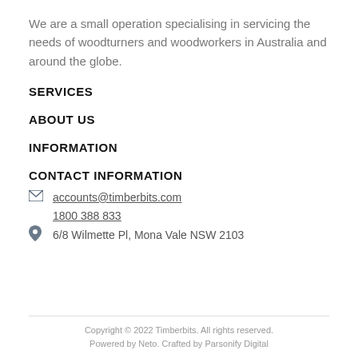We are a small operation specialising in servicing the needs of woodturners and woodworkers in Australia and around the globe.
SERVICES
ABOUT US
INFORMATION
CONTACT INFORMATION
accounts@timberbits.com
1800 388 833
6/8 Wilmette Pl, Mona Vale NSW 2103
Copyright © 2022 Timberbits. All rights reserved.
Powered by Neto. Crafted by Parsonify Digital